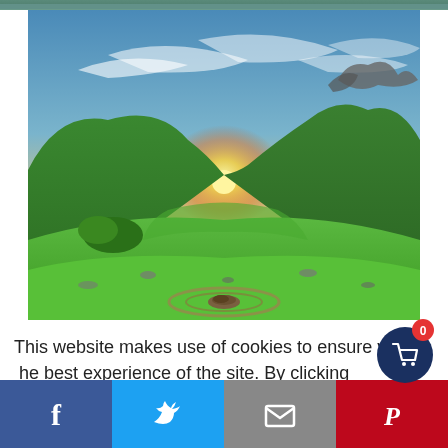[Figure (photo): Scenic landscape photograph showing green rolling hills, rocky outcroppings, a dramatic sunset with orange sky, and a circular stone arrangement in the foreground on a bright green grassy field.]
This website makes use of cookies to ensure you get the best experience of the site. By clicking "ACCEPT", you agree
[Figure (infographic): Dark blue circular shopping cart button with a red badge showing the number 0]
[Figure (infographic): Social media share bar with four buttons: Facebook (blue), Twitter (light blue), Email (gray), Pinterest (red)]